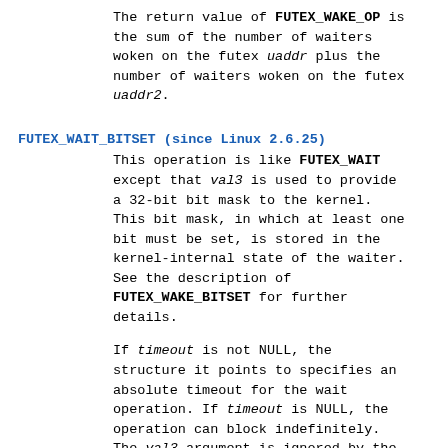The return value of FUTEX_WAKE_OP is the sum of the number of waiters woken on the futex uaddr plus the number of waiters woken on the futex uaddr2.
FUTEX_WAIT_BITSET (since Linux 2.6.25)
This operation is like FUTEX_WAIT except that val3 is used to provide a 32-bit bit mask to the kernel. This bit mask, in which at least one bit must be set, is stored in the kernel-internal state of the waiter. See the description of FUTEX_WAKE_BITSET for further details.
If timeout is not NULL, the structure it points to specifies an absolute timeout for the wait operation. If timeout is NULL, the operation can block indefinitely. The val3 argument is ignored by the kernel.